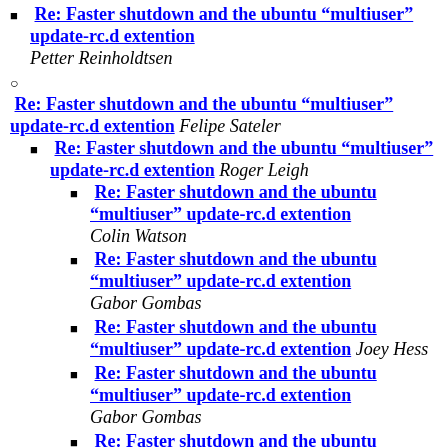Re: Faster shutdown and the ubuntu "multiuser" update-rc.d extention Petter Reinholdtsen
Re: Faster shutdown and the ubuntu "multiuser" update-rc.d extention Felipe Sateler
Re: Faster shutdown and the ubuntu "multiuser" update-rc.d extention Roger Leigh
Re: Faster shutdown and the ubuntu "multiuser" update-rc.d extention Colin Watson
Re: Faster shutdown and the ubuntu "multiuser" update-rc.d extention Gabor Gombas
Re: Faster shutdown and the ubuntu "multiuser" update-rc.d extention Joey Hess
Re: Faster shutdown and the ubuntu "multiuser" update-rc.d extention Gabor Gombas
Re: Faster shutdown and the ubuntu "multiuser" update-rc.d extention Petter Reinholdtsen
Re: Faster shutdown and the ubuntu "multiuser" update-rc.d extention